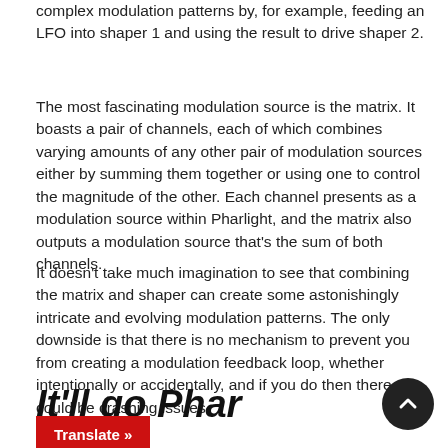complex modulation patterns by, for example, feeding an LFO into shaper 1 and using the result to drive shaper 2.
The most fascinating modulation source is the matrix. It boasts a pair of channels, each of which combines varying amounts of any other pair of modulation sources either by summing them together or using one to control the magnitude of the other. Each channel presents as a modulation source within Pharlight, and the matrix also outputs a modulation source that's the sum of both channels.
It doesn't take much imagination to see that combining the matrix and shaper can create some astonishingly intricate and evolving modulation patterns. The only downside is that there is no mechanism to prevent you from creating a modulation feedback loop, whether intentionally or accidentally, and if you do then there could be crashing issues.
It'll go Phar